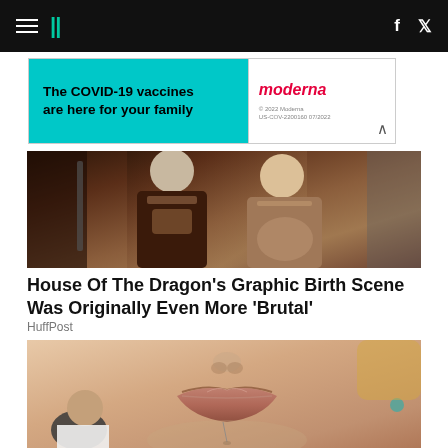HuffPost navigation header with logo and social icons
[Figure (photo): Advertisement banner: 'The COVID-19 vaccines are here for your family' with Moderna logo]
[Figure (photo): House of the Dragon TV show still image showing two characters in medieval fantasy costumes, one pregnant]
House Of The Dragon's Graphic Birth Scene Was Originally Even More 'Brutal'
HuffPost
[Figure (photo): Close-up photo of a woman's face with lips and nose visible, a man in white shirt to the lower left]